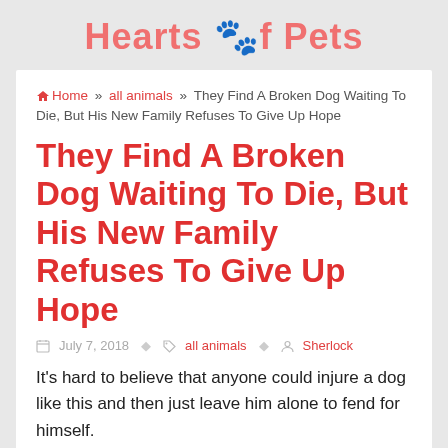Hearts of Pets
Home » all animals » They Find A Broken Dog Waiting To Die, But His New Family Refuses To Give Up Hope
They Find A Broken Dog Waiting To Die, But His New Family Refuses To Give Up Hope
July 7, 2018  all animals  Sherlock
It's hard to believe that anyone could injure a dog like this and then just leave him alone to fend for himself.